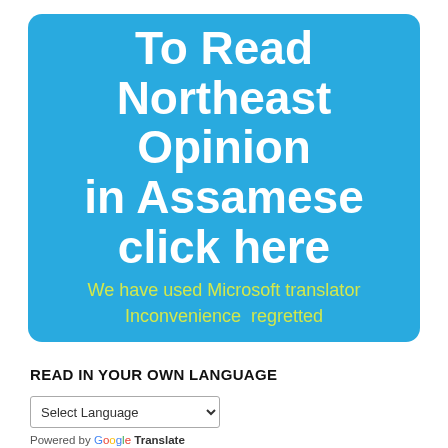[Figure (infographic): Blue rounded rectangle banner with white bold text 'To Read Northeast Opinion in Assamese click here' and yellow-green subtitle 'We have used Microsoft translator Inconvenience regretted']
READ IN YOUR OWN LANGUAGE
Select Language (dropdown) — Powered by Google Translate